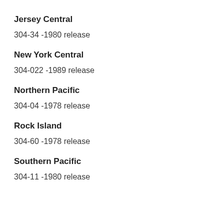Jersey Central
304-34 -1980 release
New York Central
304-022 -1989 release
Northern Pacific
304-04 -1978 release
Rock Island
304-60 -1978 release
Southern Pacific
304-11 -1980 release